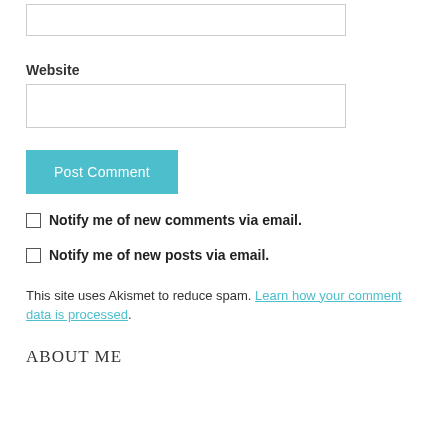(input box at top)
Website
(website input box)
Post Comment
Notify me of new comments via email.
Notify me of new posts via email.
This site uses Akismet to reduce spam. Learn how your comment data is processed.
About Me